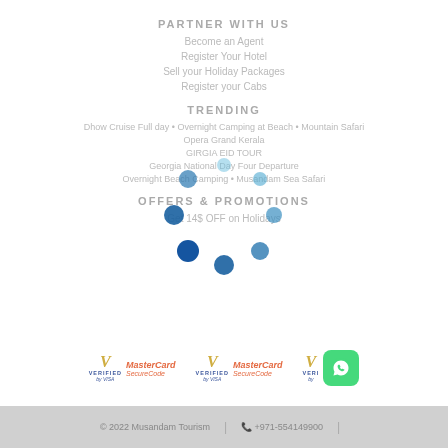PARTNER WITH US
Become an Agent
Register Your Hotel
Sell your Holiday Packages
Register your Cabs
TRENDING
Dhow Cruise Full day • Overnight Camping at Beach • Mountain Safari
Opera Grand Kerala
GIRGIA EID TOUR
Georgia National Day Four Departure
Overnight Beach Camping • Musandam Sea Safari
OFFERS & PROMOTIONS
Get 14$ OFF on Holidays
[Figure (other): Loading spinner animation overlay with blue dots arranged in a circular pattern]
[Figure (logo): Payment logos: Verified by Visa, MasterCard SecureCode (repeated multiple times), WhatsApp icon]
© 2022 Musandam Tourism  |  +971-554149900  |